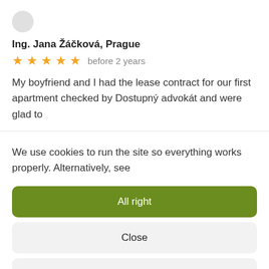Ing. Jana Žáčková, Prague
★ ★ ★ ★ ★ before 2 years
My boyfriend and I had the lease contract for our first apartment checked by Dostupný advokát and were glad to
We use cookies to run the site so everything works properly. Alternatively, see
All right
Close
Preferences
Cookies  Privacy Policy